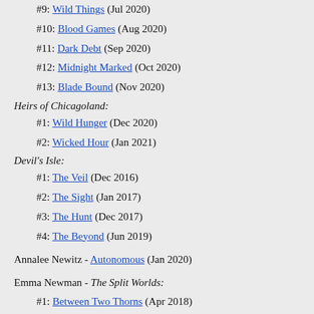#9: Wild Things (Jul 2020)
#10: Blood Games (Aug 2020)
#11: Dark Debt (Sep 2020)
#12: Midnight Marked (Oct 2020)
#13: Blade Bound (Nov 2020)
Heirs of Chicagoland:
#1: Wild Hunger (Dec 2020)
#2: Wicked Hour (Jan 2021)
Devil's Isle:
#1: The Veil (Dec 2016)
#2: The Sight (Jan 2017)
#3: The Hunt (Dec 2017)
#4: The Beyond (Jun 2019)
Annalee Newitz - Autonomous (Jan 2020)
Emma Newman - The Split Worlds:
#1: Between Two Thorns (Apr 2018)
#2: Any Other Name (May 2018)